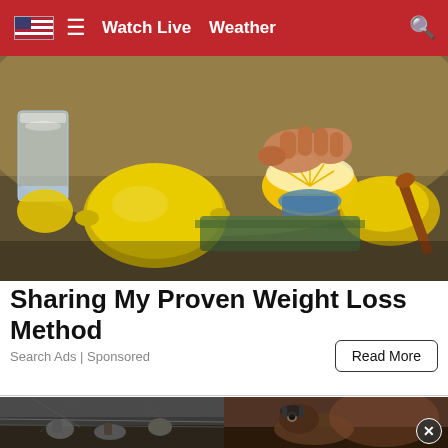Watch Live  Weather
[Figure (photo): Close-up photo of hands squeezing a lemon on a juicer, with whole lemons, a glass of water, and a honey dipper visible on a kitchen counter]
Sharing My Proven Weight Loss Method
Search Ads | Sponsored
Read More
[Figure (photo): Two bottom thumbnail images: left shows people near animals in an outdoor setting; right shows a dog or animal with equipment nearby]